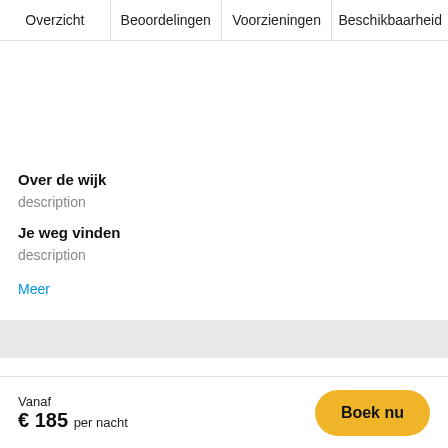Overzicht | Beoordelingen | Voorzieningen | Beschikbaarheid
Over de wijk
description
Je weg vinden
description
Meer
Vanaf € 185 per nacht  Boek nu